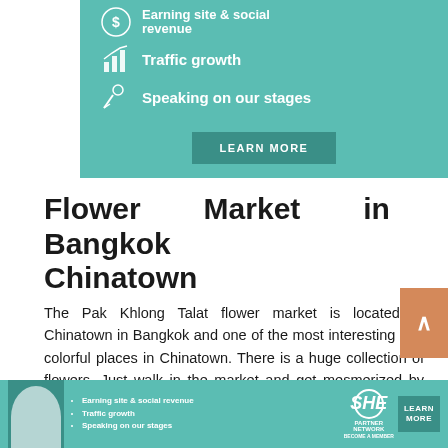[Figure (infographic): Teal/mint colored advertisement banner showing icons and text: 'Earning site & social revenue', 'Traffic growth', 'Speaking on our stages' with a LEARN MORE button]
Flower Market in Bangkok Chinatown
The Pak Khlong Talat flower market is located in Chinatown in Bangkok and one of the most interesting and colorful places in Chinatown. There is a huge collection of flowers. Just walk in the market and get mesmerized by the beautiful color and s of the flower.
[Figure (infographic): Bottom banner advertisement for SHE Partner Network with photo of a woman, bullet list (Earning site & social revenue, Traffic growth, Speaking on our stages), SHE logo, and LEARN MORE button]